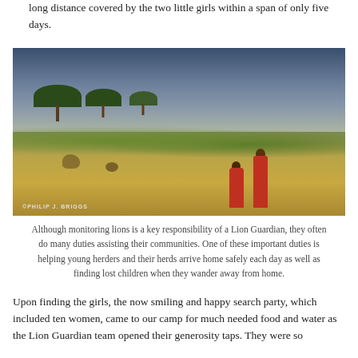long distance covered by the two little girls within a span of only five days.
[Figure (photo): Two Maasai figures in red robes standing in an African savanna landscape with acacia trees, green grass, and animals in the background. Copyright watermark: ©PHILIP J. BRIGGS]
Although monitoring lions is a key responsibility of a Lion Guardian, they often do many duties assisting their communities. One of these important duties is helping young herders and their herds arrive home safely each day as well as finding lost children when they wander away from home.
Upon finding the girls, the now smiling and happy search party, which included ten women, came to our camp for much needed food and water as the Lion Guardian team opened their generosity taps. They were so